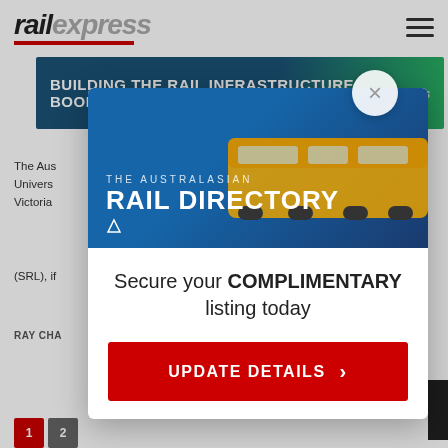[Figure (logo): Rail Express logo with 'rail' in black italic bold and 'express' in grey italic bold, with a red underline bar]
[Figure (screenshot): Banner advertisement: 'BUILDING THE RAIL INFRASTRUCTURE BOOM' on dark blue/green gradient background with Rail Express logo]
The Aus... Univers... Victoria...
(SRL), if...
RAY CHA...
[Figure (screenshot): Modal popup overlay for The Australasian Rail Directory showing a train image, tagline 'Secure your COMPLIMENTARY listing today' and a red UPDATE DETAILS button]
Secure your COMPLIMENTARY listing today
UPDATE DETAILS ›